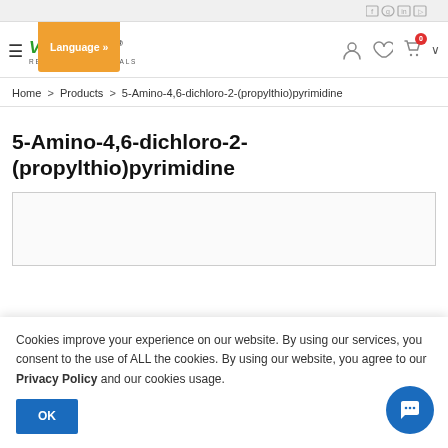SynThink Research Chemicals — Language » | Home > Products > 5-Amino-4,6-dichloro-2-(propylthio)pyrimidine
Home > Products > 5-Amino-4,6-dichloro-2-(propylthio)pyrimidine
5-Amino-4,6-dichloro-2-(propylthio)pyrimidine
[Figure (other): Product image placeholder box (empty white box with border)]
Cookies improve your experience on our website. By using our services, you consent to the use of ALL the cookies. By using our website, you agree to our Privacy Policy and our cookies usage.